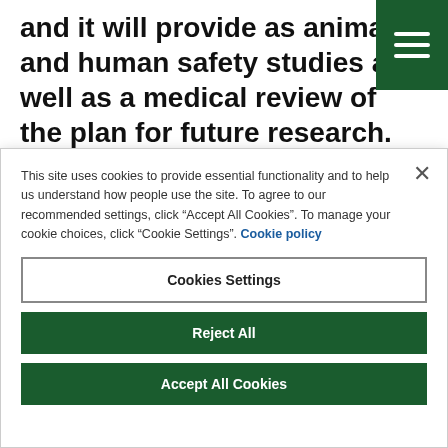and it will provide as animals and human safety studies as well as a medical review of the plan for future research. Researchers have secured funding from LifeArc to progress VP01 to a Phase 2 randomised controlled clinical trial based on associated...
This site uses cookies to provide essential functionality and to help us understand how people use the site. To agree to our recommended settings, click “Accept All Cookies”. To manage your cookie choices, click “Cookie Settings”. Cookie policy
Cookies Settings
Reject All
Accept All Cookies